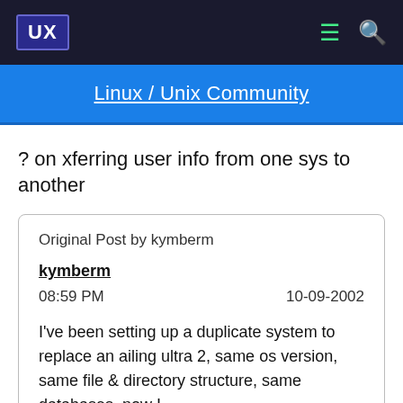UX
Linux / Unix Community
? on xferring user info from one sys to another
Original Post by kymberm
kymberm
08:59 PM   10-09-2002
I've been setting up a duplicate system to replace an ailing ultra 2, same os version, same file & directory structure, same databases, now I